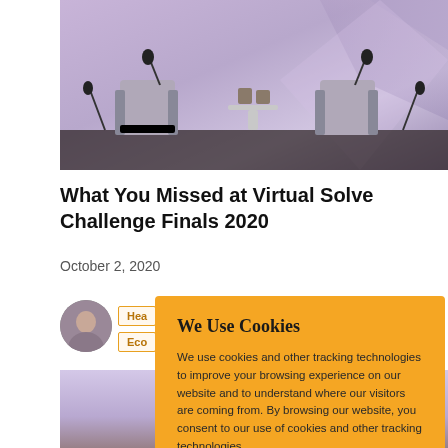[Figure (photo): Conference stage with chairs, microphones, and purple geometric background]
What You Missed at Virtual Solve Challenge Finals 2020
October 2, 2020
[Figure (photo): Author avatar - circular profile photo]
Hea
Eco
We Use Cookies
We use cookies and other tracking technologies to improve your browsing experience on our website and to understand where our visitors are coming from. By browsing our website, you consent to our use of cookies and other tracking technologies.
ACCEPT
REJECT
[Figure (photo): Second image partially visible at the bottom]